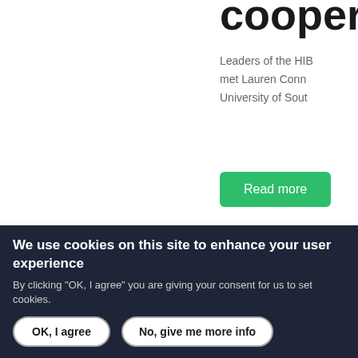cooperat
Leaders of the HIB
met Lauren Conn
University of Sout
Read more
[Figure (logo): University building logo (Széchenyi István Egyetem)]
[Figure (logo): DFI logo with green and red elements]
SZÉCHENYI 2020
ÚJ SZÉCHENYI TERV
We use cookies on this site to enhance your user experience
By clicking "OK, I agree" you are giving your consent for us to set cookies.
OK, I agree
No, give me more info